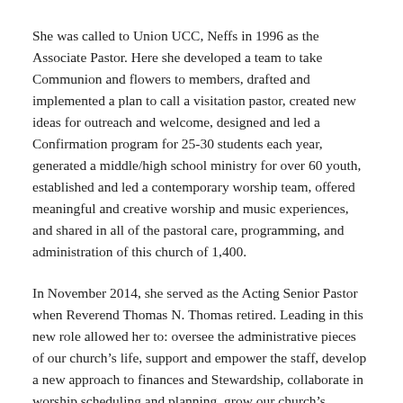She was called to Union UCC, Neffs in 1996 as the Associate Pastor. Here she developed a team to take Communion and flowers to members, drafted and implemented a plan to call a visitation pastor, created new ideas for outreach and welcome, designed and led a Confirmation program for 25-30 students each year, generated a middle/high school ministry for over 60 youth, established and led a contemporary worship team, offered meaningful and creative worship and music experiences, and shared in all of the pastoral care, programming, and administration of this church of 1,400.
In November 2014, she served as the Acting Senior Pastor when Reverend Thomas N. Thomas retired. Leading in this new role allowed her to: oversee the administrative pieces of our church’s life, support and empower the staff, develop a new approach to finances and Stewardship, collaborate in worship scheduling and planning, grow our church’s ministry and mission of Jesus Christ and create a vision and plan for the future.
“Being in ministry has always been my dream job, and I believe it is God’s dream for me too.” In November 2016 she was honored,